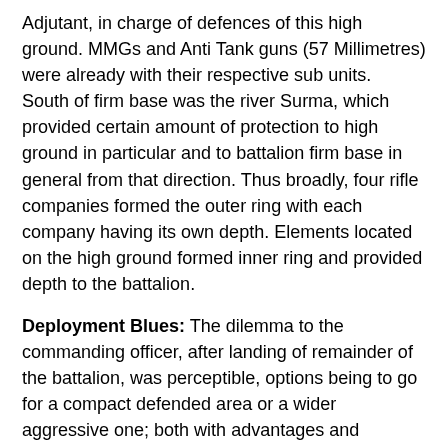Adjutant, in charge of defences of this high ground. MMGs and Anti Tank guns (57 Millimetres) were already with their respective sub units.
South of firm base was the river Surma, which provided certain amount of protection to high ground in particular and to battalion firm base in general from that direction. Thus broadly, four rifle companies formed the outer ring with each company having its own depth. Elements located on the high ground formed inner ring and provided depth to the battalion.
Deployment Blues: The dilemma to the commanding officer, after landing of remainder of the battalion, was perceptible, options being to go for a compact defended area or a wider aggressive one; both with advantages and disadvantages. Compact defenses would have ensured that paucity of fighting strength was minimised, actions and command and control well coordinated. The wider aggressive deployment, preferred  and done by CO (he we) had following advantages...